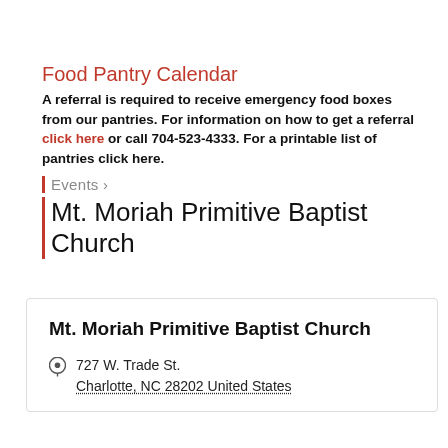Food Pantry Calendar
A referral is required to receive emergency food boxes from our pantries. For information on how to get a referral click here or call 704-523-4333. For a printable list of pantries click here.
Events ›
Mt. Moriah Primitive Baptist Church
Mt. Moriah Primitive Baptist Church
727 W. Trade St. Charlotte, NC 28202 United States